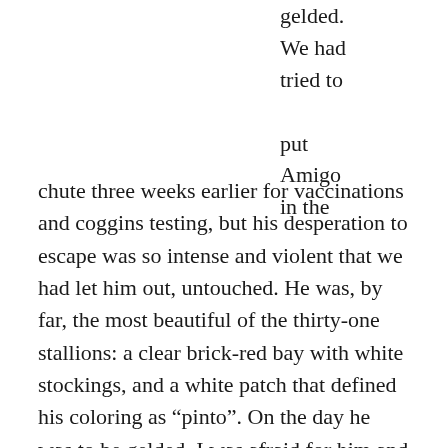gelded. We had tried to put Amigo in the chute three weeks earlier for vaccinations and coggins testing, but his desperation to escape was so intense and violent that we had let him out, untouched. He was, by far, the most beautiful of the thirty-one stallions: a clear brick-red bay with white stockings, and a white patch that defined his coloring as “pinto”. On the day he was to be gelded, I was afraid for him and so I left him for last.